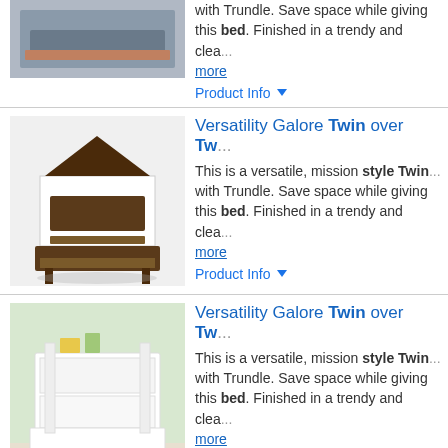[Figure (photo): Twin bed with trundle - partial view at top]
with Trundle. Save space while giving this bed. Finished in a trendy and clea... more
Product Info ▼
Versatility Galore Twin over Tw...
[Figure (photo): Dark wood twin over twin bunk bed with trundle and house-shaped headboard]
This is a versatile, mission style Twin... with Trundle. Save space while giving this bed. Finished in a trendy and clea... more
Product Info ▼
Versatility Galore Twin over Tw...
[Figure (photo): White twin over twin bunk bed with trundle in light room setting]
This is a versatile, mission style Twin... with Trundle. Save space while giving this bed. Finished in a trendy and clea... more
Product Info ▼
Twin over Twin over Twin Pine...
[Figure (photo): Dark metal twin over twin over twin house bunk bed with trundle]
This is a versatile, mission style Twin... with Trundle. Save space while giving this bed. Finished in a trendy and clea... more
Product Info ▼
Twin over Twin over Twin Pine...
[Figure (photo): Partial view of another bunk bed product at bottom]
This is a versatile, mission style Twin...